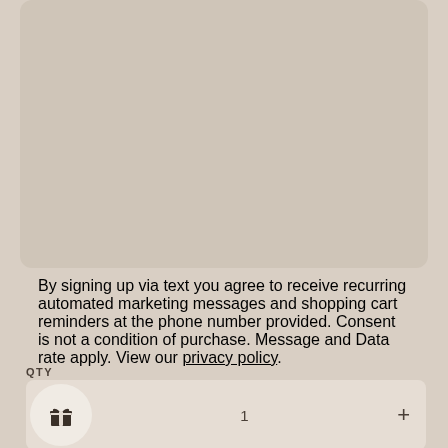By signing up via text you agree to receive recurring automated marketing messages and shopping cart reminders at the phone number provided. Consent is not a condition of purchase. Message and Data rate apply. View our privacy policy.
QTY
[Figure (illustration): Quantity selector row with gift icon button on left, number 1 in center, plus button on right]
ADD TO BAG